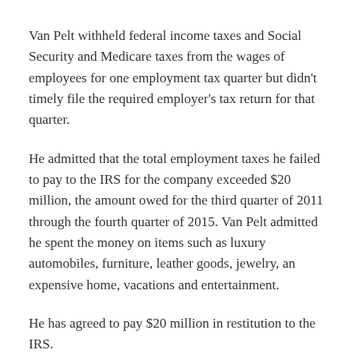Van Pelt withheld federal income taxes and Social Security and Medicare taxes from the wages of employees for one employment tax quarter but didn't timely file the required employer's tax return for that quarter.
He admitted that the total employment taxes he failed to pay to the IRS for the company exceeded $20 million, the amount owed for the third quarter of 2011 through the fourth quarter of 2015. Van Pelt admitted he spent the money on items such as luxury automobiles, furniture, leather goods, jewelry, an expensive home, vacations and entertainment.
He has agreed to pay $20 million in restitution to the IRS.
Green Bay, Wis.: Former resident Alma Ramirez, 40, has